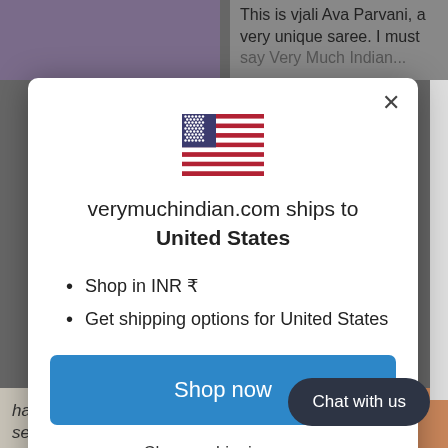This is vjali Ava Parvani, a very unique saree. I must say Very Much Indian...
[Figure (illustration): US flag SVG illustration centered in modal]
verymuchindian.com ships to United States
Shop in INR ₹
Get shipping options for United States
Shop now
Change shipping cou...
Chat with us
have good customer service.